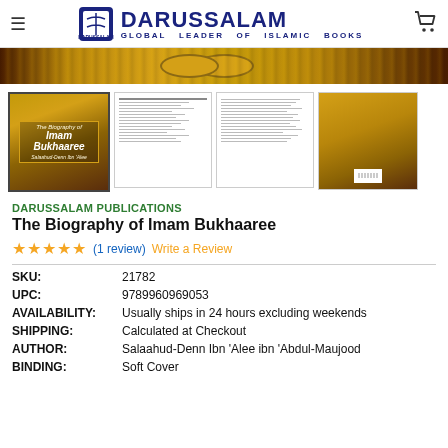DARUSSALAM — GLOBAL LEADER OF ISLAMIC BOOKS
[Figure (illustration): Banner with ornate Islamic decorative pattern in gold and brown, with oval medallions]
[Figure (illustration): Four product thumbnails: book cover of The Biography of Imam Bukhaaree, table of contents page, text page, and back cover]
DARUSSALAM PUBLICATIONS
The Biography of Imam Bukhaaree
★★★★★ (1 review)  Write a Review
| Field | Value |
| --- | --- |
| SKU: | 21782 |
| UPC: | 9789960969053 |
| AVAILABILITY: | Usually ships in 24 hours excluding weekends |
| SHIPPING: | Calculated at Checkout |
| AUTHOR: | Salaahud-Denn Ibn 'Alee ibn 'Abdul-Maujood |
| BINDING: | Soft Cover |